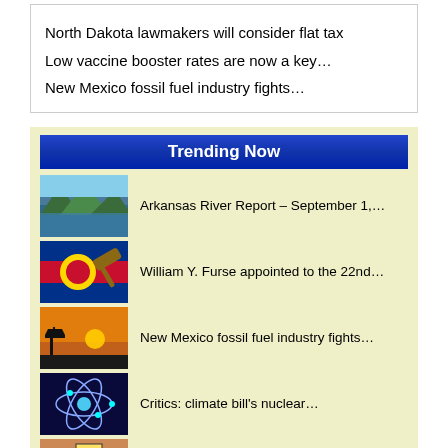North Dakota lawmakers will consider flat tax
Low vaccine booster rates are now a key…
New Mexico fossil fuel industry fights…
Trending Now
Arkansas River Report – September 1,…
William Y. Furse appointed to the 22nd…
New Mexico fossil fuel industry fights…
Critics: climate bill's nuclear…
Study: perception versus reality about…